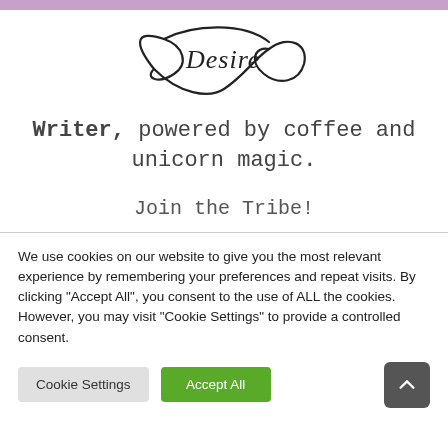[Figure (logo): Cursive/script logo reading 'Desire' with decorative swirls]
Writer, powered by coffee and unicorn magic.
Join the Tribe!
We use cookies on our website to give you the most relevant experience by remembering your preferences and repeat visits. By clicking "Accept All", you consent to the use of ALL the cookies. However, you may visit "Cookie Settings" to provide a controlled consent.